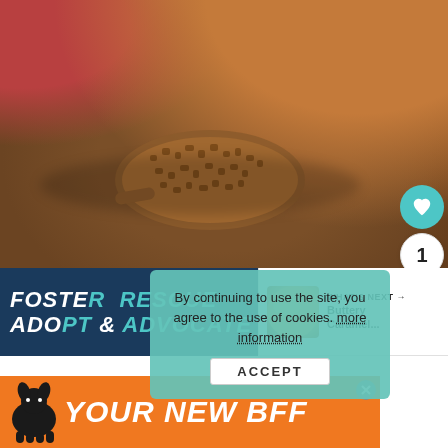[Figure (photo): Close-up photo of toffee/caramel bits on a wooden spoon resting on parchment paper, with a jar of caramel sauce and a red apple in the background]
[Figure (photo): Advertisement banner: FOSTER RESCUE ADOPT ADVOCATE in white and teal italic bold text on dark navy background, with a dog paw/heart icon]
By continuing to use the site, you agree to the use of cookies. more information
ACCEPT
WHAT'S NEXT → Buttery Caramel...
[Figure (photo): Thumbnail image of a buttery caramel dessert]
[Figure (advertisement): Bottom banner ad: black dog silhouette with text YOUR NEW BFF on orange background]
YOUR NEW BFF